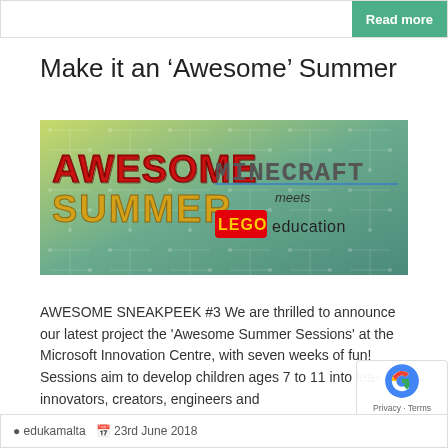Read more
Make it an ‘Awesome’ Summer
[Figure (photo): Banner image showing 'AWESOME SUMMER' text in stylized red/yellow font alongside 'MINECRAFT meets LEGO education' logos on a green circuit-board background]
AWESOME SNEAKPEEK #3 We are thrilled to announce our latest project the 'Awesome Summer Sessions' at the Microsoft Innovation Centre, with seven weeks of fun! Sessions aim to develop children ages 7 to 11 into learners, innovators, creators, engineers and
edukamalta  23rd June 2018